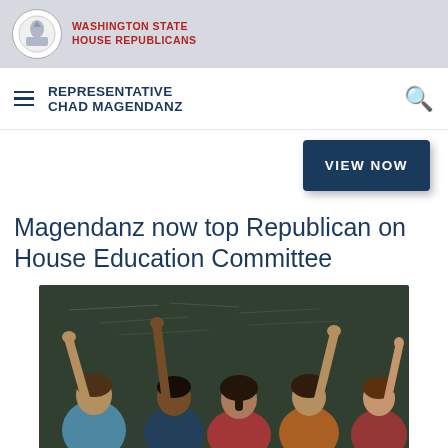WASHINGTON STATE HOUSE REPUBLICANS
REPRESENTATIVE CHAD MAGENDANZ
VIEW NOW
Magendanz now top Republican on House Education Committee
[Figure (photo): Students in a classroom raising their hands in front of a chalkboard, viewed from behind]